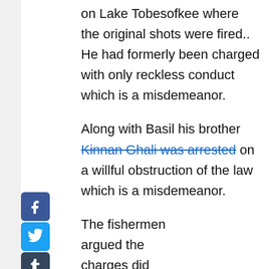on Lake Tobesofkee where the original shots were fired.. He had formerly been charged with only reckless conduct which is a misdemeanor.
Along with Basil his brother Kinnan Ghali was arrested on a willful obstruction of the law which is a misdemeanor.
The fishermen argued the charges did not fit the crime and the deputies had been